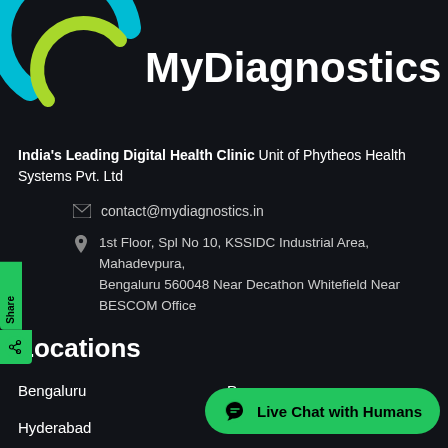[Figure (logo): MyDiagnostics logo with circular teal and green icon and white text]
India's Leading Digital Health Clinic Unit of Phytheos Health Systems Pvt. Ltd
contact@mydiagnostics.in
1st Floor, Spl No 10, KSSIDC Industrial Area, Mahadevpura, Bengaluru 560048 Near Decathon Whitefield Near BESCOM Office
Locations
Bengaluru
Pune
Hyderabad
Kolkata
Chennai
Mumbai
Delhi NCR
Goa